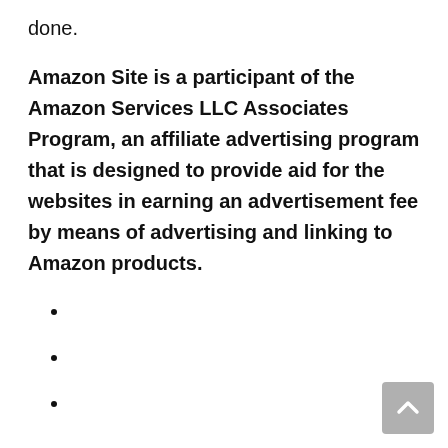done.
Amazon Site is a participant of the Amazon Services LLC Associates Program, an affiliate advertising program that is designed to provide aid for the websites in earning an advertisement fee by means of advertising and linking to Amazon products.
BEST WIRELESS DEVICES